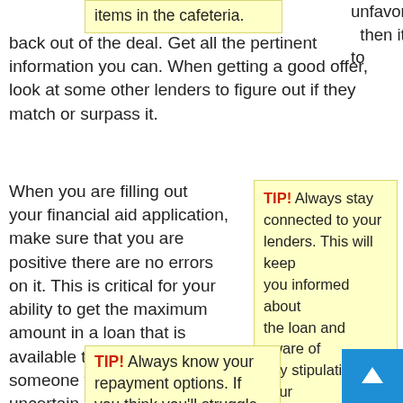items in the cafeteria. unfavorable at this point, then it can be really hard to back out of the deal. Get all the pertinent information you can. When getting a good offer, look at some other lenders to figure out if they match or surpass it.
When you are filling out your financial aid application, make sure that you are positive there are no errors on it. This is critical for your ability to get the maximum amount in a loan that is available to you. Ask someone for help if you are uncertain.
TIP! Always stay connected to your lenders. This will keep you informed about the loan and aware of any stipulations to your payment plan.
TIP! Always know your repayment options. If you think you'll struggle
To maximize the use of yo student loan, purchase a meal plan which is based on